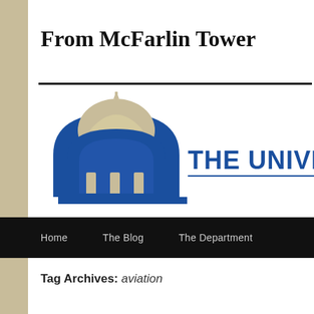From McFarlin Tower
[Figure (logo): University logo with blue dome building icon and text 'THE UNIVERSIT' (partially visible) in blue]
Home   The Blog   The Department
Tag Archives: aviation